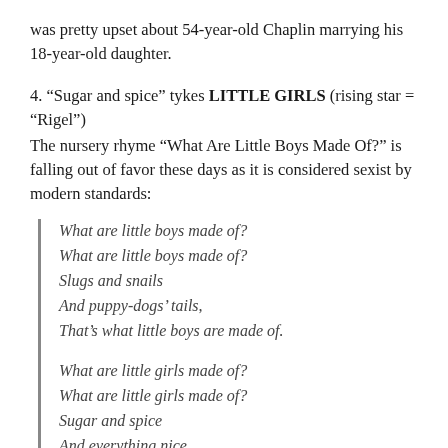was pretty upset about 54-year-old Chaplin marrying his 18-year-old daughter.
4. “Sugar and spice” tykes LITTLE GIRLS (rising star = “Rigel”)
The nursery rhyme “What Are Little Boys Made Of?” is falling out of favor these days as it is considered sexist by modern standards:
What are little boys made of?
What are little boys made of?
Slugs and snails
And puppy-dogs’ tails,
That’s what little boys are made of.

What are little girls made of?
What are little girls made of?
Sugar and spice
And everything nice,